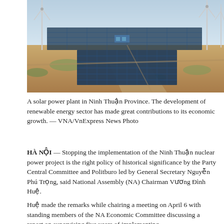[Figure (photo): Aerial photograph of a solar power plant in Ninh Thuận Province, Vietnam, showing rows of solar panels alongside wind turbines in a dry, scrubby landscape.]
A solar power plant in Ninh Thuận Province. The development of renewable energy sector has made great contributions to its economic growth. — VNA/VnExpress News Photo
HÀ NỘI — Stopping the implementation of the Ninh Thuận nuclear power project is the right policy of historical significance by the Party Central Committee and Politburo led by General Secretary Nguyễn Phú Trọng, said National Assembly (NA) Chairman Vương Đình Huệ.
Huệ made the remarks while chairing a meeting on April 6 with standing members of the NA Economic Committee discussing a report on supervising five years of implementing